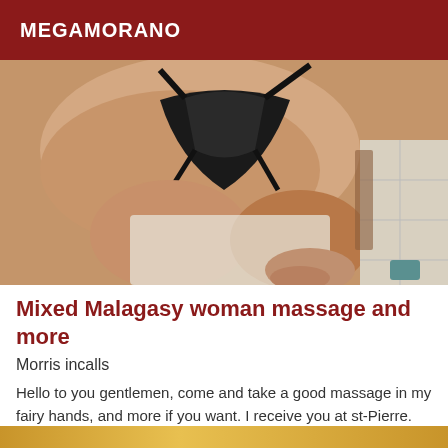MEGAMORANO
[Figure (photo): A photograph showing a person in black lingerie on a white surface with tiled floor in background]
Mixed Malagasy woman massage and more
Morris incalls
Hello to you gentlemen, come and take a good massage in my fairy hands, and more if you want. I receive you at st-Pierre.